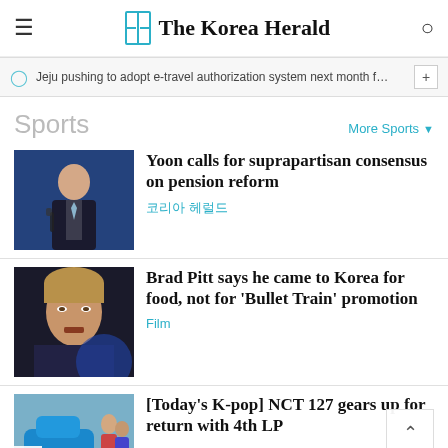The Korea Herald
Jeju pushing to adopt e-travel authorization system next month f…
Sports
More Sports
[Figure (photo): Man in suit at podium with microphones]
Yoon calls for suprapartisan consensus on pension reform
코리아 헤럴드
[Figure (photo): Brad Pitt portrait photo]
Brad Pitt says he came to Korea for food, not for 'Bullet Train' promotion
Film
[Figure (photo): Partial image of people and blue car]
[Today's K-pop] NCT 127 gears up for return with 4th LP